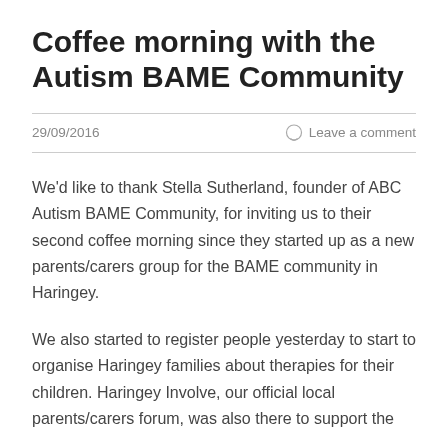Coffee morning with the Autism BAME Community
29/09/2016
Leave a comment
We'd like to thank Stella Sutherland, founder of ABC Autism BAME Community, for inviting us to their second coffee morning since they started up as a new parents/carers group for the BAME community in Haringey.
We also started to register people yesterday to start to organise Haringey families about therapies for their children. Haringey Involve, our official local parents/carers forum, was also there to support the